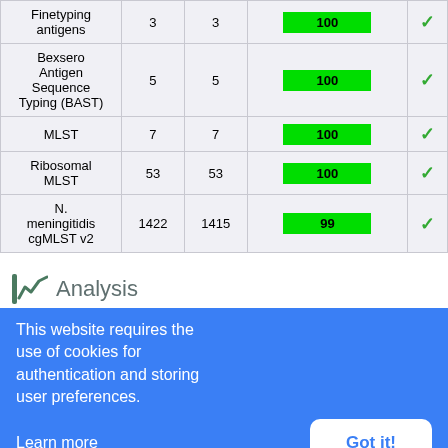|  |  |  |  |  |
| --- | --- | --- | --- | --- |
| Finetyping antigens | 3 | 3 | 100 | ✓ |
| Bexsero Antigen Sequence Typing (BAST) | 5 | 5 | 100 | ✓ |
| MLST | 7 | 7 | 100 | ✓ |
| Ribosomal MLST | 53 | 53 | 100 | ✓ |
| N. meningitidis cgMLST v2 | 1422 | 1415 | 99 | ✓ |
Analysis
This website requires the use of cookies for authentication and storing user preferences.
Learn more